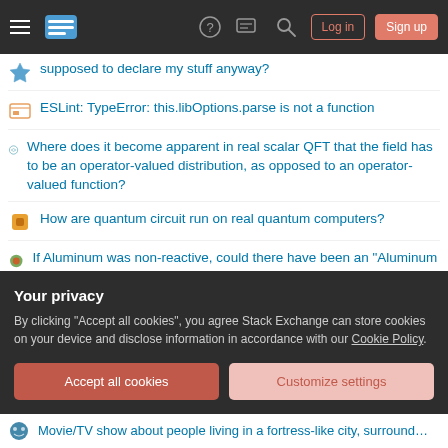Stack Exchange navigation bar with Log in and Sign up buttons
supposed to declare my stuff anyway?
ESLint: TypeError: this.libOptions.parse is not a function
Where does it become apparent in real scalar QFT that the field has to be an operator-valued distribution, as opposed to an operator-valued function?
How are quantum circuit run on real quantum computers?
If Aluminum was non-reactive, could there have been an "Aluminum Age" instead of a Bronze Age?
AC vs DC voltage regulator for hybrid drone
What kind of bicycle do I have? manufacturer/model..frame?
Colorful and named after famous people
Your privacy
By clicking "Accept all cookies", you agree Stack Exchange can store cookies on your device and disclose information in accordance with our Cookie Policy.
Movie/TV show about people living in a fortress-like city, surrounded by...